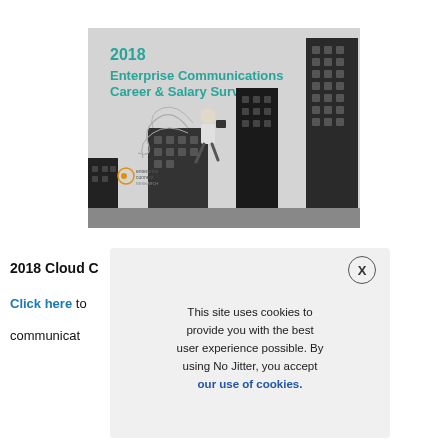[Figure (illustration): 2018 Enterprise Communications Career & Salary Survey report cover showing a person running over a cityscape of buildings, with the Enterprise Connect logo in the lower left. Title text in teal reads '2018 Enterprise Communications Career & Salary Survey'.]
2018 Cloud C
Click here to
communicat
This site uses cookies to provide you with the best user experience possible. By using No Jitter, you accept our use of cookies.